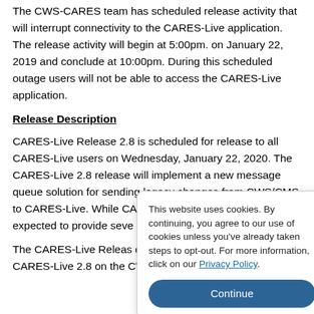The CWS-CARES team has scheduled release activity that will interrupt connectivity to the CARES-Live application. The release activity will begin at 5:00pm. on January 22, 2019 and conclude at 10:00pm. During this scheduled outage users will not be able to access the CARES-Live application.
Release Description
CARES-Live Release 2.8 is scheduled for release to all CARES-Live users on Wednesday, January 22, 2020. The CARES-Live 2.8 release will implement a new message queue solution for sending legacy changes from CWS/CMS to CARES-Live. While CARES-Live users will not directl... expected to provide seve... its overall performance.
The CARES-Live Releas... of the release. Counties... Notes for CARES-Live 2.8 on the CWDS website at
This website uses cookies. By continuing, you agree to our use of cookies unless you've already taken steps to opt-out. For more information, click on our Privacy Policy.